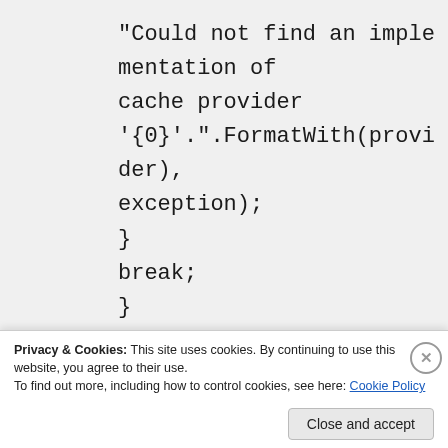"Could not find an implementation of cache provider '{0}'.".FormatWith(provider), exception);
}
break;
}
if (!cacheProvider.IsNull())
{
var transactionHandler = new
CacheTransactionHandler(ICache)
Privacy & Cookies: This site uses cookies. By continuing to use this website, you agree to their use.
To find out more, including how to control cookies, see here: Cookie Policy